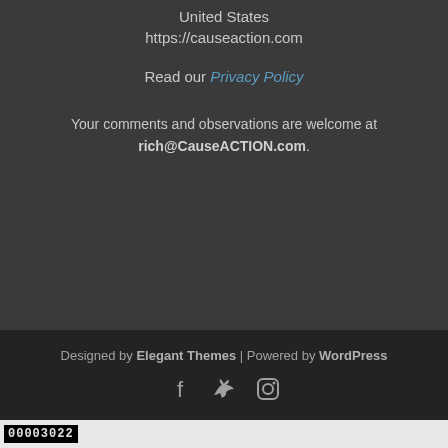United States
https://causeaction.com
Read our Privacy Policy
Your comments and observations are welcome at rich@CauseACTION.com.
Designed by Elegant Themes | Powered by WordPress
[Figure (other): Social media icons: Facebook, Twitter, Instagram]
00003022